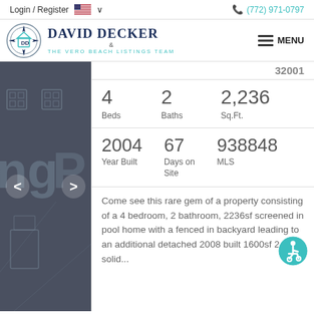Login / Register  (772) 971-0797
[Figure (logo): David Decker & The Vero Beach Listings Team logo with compass icon]
32001
| 4 | 2 | 2,236 |
| Beds | Baths | Sq.Ft. |
| 2004 | 67 | 938848 |
| Year Built | Days on Site | MLS |
Come see this rare gem of a property consisting of a 4 bedroom, 2 bathroom, 2236sf screened in pool home with a fenced in backyard leading to an additional detached 2008 built 1600sf 2-car solid...